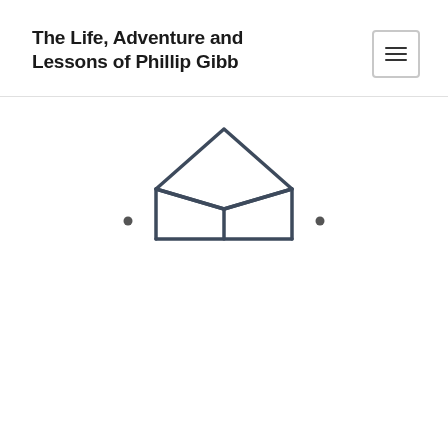The Life, Adventure and Lessons of Phillip Gibb
[Figure (illustration): An open envelope or box shape icon drawn with thin dark lines, geometric style, with two small dots/arrows on either side below it — appears to be a navigation or email icon]